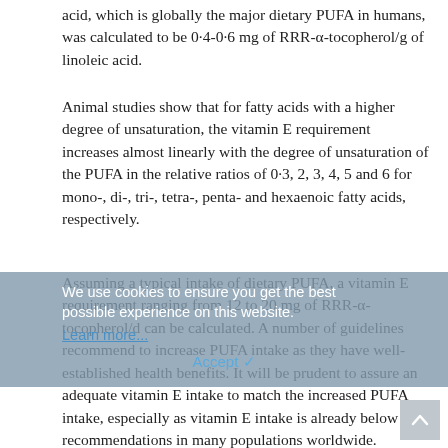acid, which is globally the major dietary PUFA in humans, was calculated to be 0·4-0·6 mg of RRR-α-tocopherol/g of linoleic acid.
Animal studies show that for fatty acids with a higher degree of unsaturation, the vitamin E requirement increases almost linearly with the degree of unsaturation of the PUFA in the relative ratios of 0·3, 2, 3, 4, 5 and 6 for mono-, di-, tri-, tetra-, penta- and hexaenoic fatty acids, respectively.
Assuming a typical intake of dietary PUFA, a vitamin E requirement ranging from 12 to 20 mg of RRR-α-tocopherol/d can be calculated. A number of guidelines recommend to increase PUFA intake as they have well-established health benefits. It will be prudent to assure an adequate vitamin E intake to match the increased PUFA intake, especially as vitamin E intake is already below recommendations in many populations worldwide.